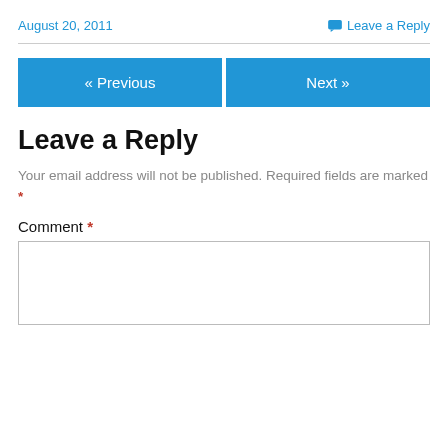August 20, 2011
Leave a Reply
« Previous
Next »
Leave a Reply
Your email address will not be published. Required fields are marked *
Comment *